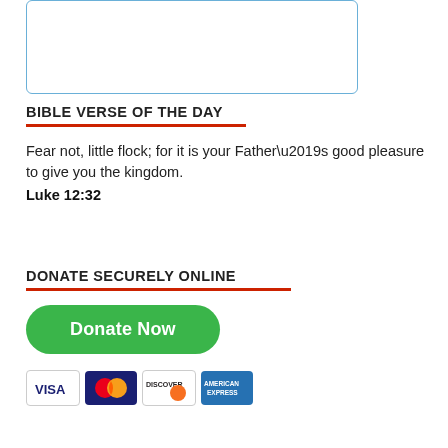[Figure (other): Empty rectangular box with blue border, likely a content placeholder or image area]
BIBLE VERSE OF THE DAY
Fear not, little flock; for it is your Father’s good pleasure to give you the kingdom.
Luke 12:32
DONATE SECURELY ONLINE
[Figure (other): Green Donate Now button followed by credit card logos: VISA, MasterCard, Discover, American Express]